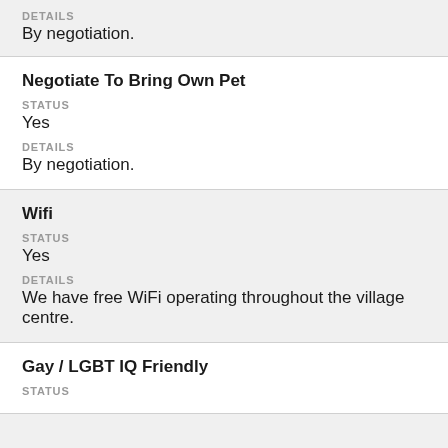DETAILS
By negotiation.
Negotiate To Bring Own Pet
STATUS
Yes
DETAILS
By negotiation.
Wifi
STATUS
Yes
DETAILS
We have free WiFi operating throughout the village centre.
Gay / LGBT IQ Friendly
STATUS